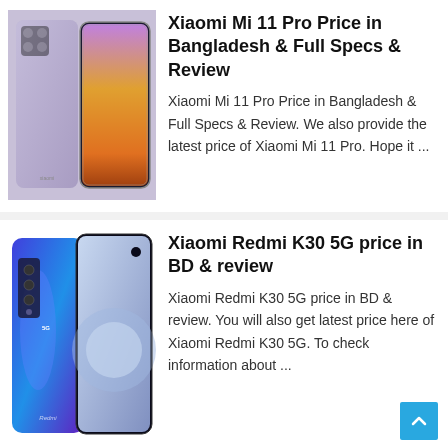[Figure (photo): Xiaomi Mi 11 Pro smartphone product image showing front and back views with lavender/purple color]
Xiaomi Mi 11 Pro Price in Bangladesh & Full Specs & Review
Xiaomi Mi 11 Pro Price in Bangladesh & Full Specs & Review. We also provide the latest price of Xiaomi Mi 11 Pro. Hope it ...
[Figure (photo): Xiaomi Redmi K30 5G smartphone product image showing front and back views with blue gradient color]
Xiaomi Redmi K30 5G price in BD & review
Xiaomi Redmi K30 5G price in BD & review. You will also get latest price here of Xiaomi Redmi K30 5G. To check information about ...